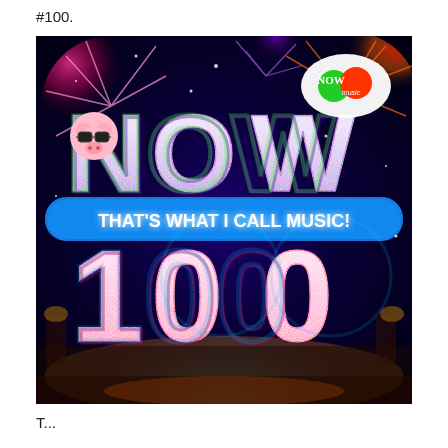#100.
[Figure (photo): Album cover for 'Now That's What I Call Music! 100' featuring large glittery letters spelling NOW on top and 100 below, with 'THAT'S WHAT I CALL MUSIC!' in a blue banner in the middle. Background shows colorful fireworks. NOW Music logo in top right corner. Pink pig mascot with sunglasses on the left.]
T...